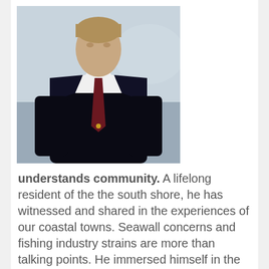[Figure (photo): Portrait photo of a man in a dark suit with a dark red tie, white shirt, outdoors with blurred background. He is facing forward, upper body visible.]
understands community. A lifelong resident of the the south shore, he has witnessed and shared in the experiences of our coastal towns. Seawall concerns and fishing industry strains are more than talking points. He immersed himself in the maritime world at a young age, beginning as a deck hand before ultimately earning his captain's license. He knows our